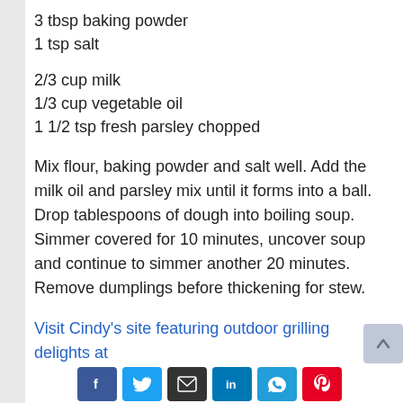3 tbsp baking powder
1 tsp salt
2/3 cup milk
1/3 cup vegetable oil
1 1/2 tsp fresh parsley chopped
Mix flour, baking powder and salt well. Add the milk oil and parsley mix until it forms into a ball. Drop tablespoons of dough into boiling soup. Simmer covered for 10 minutes, uncover soup and continue to simmer another 20 minutes. Remove dumplings before thickening for stew.
Visit Cindy’s site featuring outdoor grilling delights at